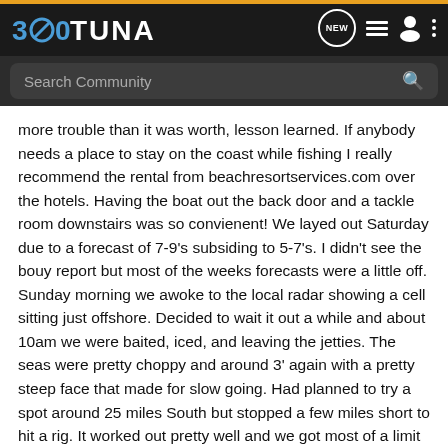360TUNA
more trouble than it was worth, lesson learned. If anybody needs a place to stay on the coast while fishing I really recommend the rental from beachresortservices.com over the hotels. Having the boat out the back door and a tackle room downstairs was so convienent! We layed out Saturday due to a forecast of 7-9's subsiding to 5-7's. I didn't see the bouy report but most of the weeks forecasts were a little off. Sunday morning we awoke to the local radar showing a cell sitting just offshore. Decided to wait it out a while and about 10am we were baited, iced, and leaving the jetties. The seas were pretty choppy and around 3' again with a pretty steep face that made for slow going. Had planned to try a spot around 25 miles South but stopped a few miles short to hit a rig. It worked out pretty well and we got most of a limit of snapper before finishing out on the CE wreck. Nothing huge, maybe 6lbs was the biggest,